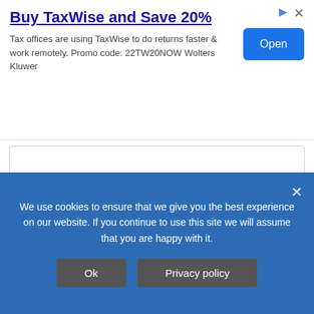[Figure (screenshot): Ad banner for TaxWise with title 'Buy TaxWise and Save 20%', body text about promo code 22TW20NOW Wolters Kluwer, and a blue Open button]
Please Check it properly. We have updated it 🙂
Nadia
February 28, 2019 at 2:25 am | Reply
We use cookies to ensure that we give you the best experience on our website. If you continue to use this site we will assume that you are happy with it.